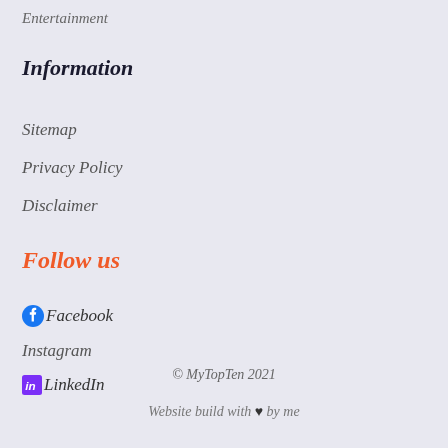Entertainment
Information
Sitemap
Privacy Policy
Disclaimer
Follow us
Facebook
Instagram
LinkedIn
© MyTopTen 2021
Website build with ♥ by me